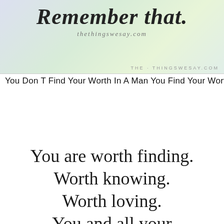[Figure (illustration): Decorative image with pastel colored background (lavender, green, mint tones) showing italic script text 'Remember that.' and website 'thethingswesay.com', with watermark 'THE THINGSWESAY.COM' at bottom right]
You Don T Find Your Worth In A Man You Find Your Worth Within
You are worth finding. Worth knowing. Worth loving. You and all your